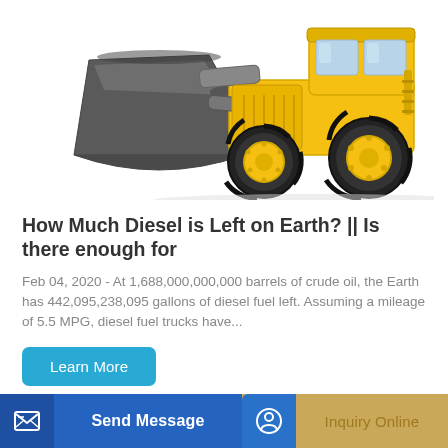[Figure (photo): Yellow and black wheel loader / front loader construction machine with large grey bucket attachment, photographed on white background]
How Much Diesel is Left on Earth? || Is there enough for
Feb 04, 2020 - At 1,688,000,000,000 barrels of crude oil, the Earth has 442,095,238,095 gallons of diesel fuel left. Assuming a mileage of 5.5 MPG, diesel fuel trucks have...
Learn More
Send Message
Inquiry Online